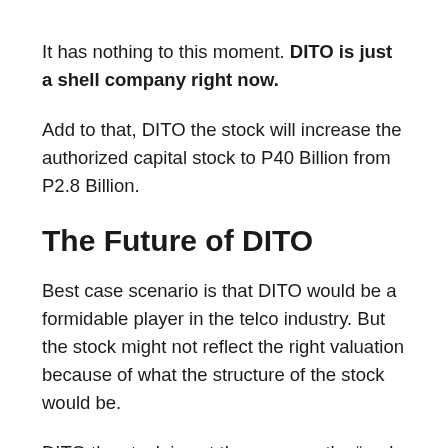It has nothing to this moment. DITO is just a shell company right now.
Add to that, DITO the stock will increase the authorized capital stock to P40 Billion from P2.8 Billion.
The Future of DITO
Best case scenario is that DITO would be a formidable player in the telco industry. But the stock might not reflect the right valuation because of what the structure of the stock would be.
DITO the stock is not the same as the “real DITO telco” that…